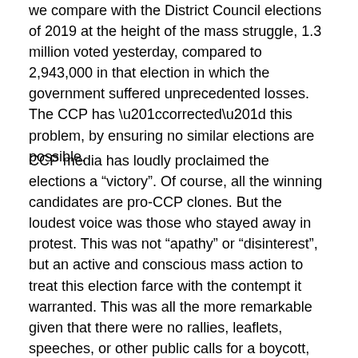we compare with the District Council elections of 2019 at the height of the mass struggle, 1.3 million voted yesterday, compared to 2,943,000 in that election in which the government suffered unprecedented losses. The CCP has “corrected” this problem, by ensuring no similar elections are possible.
CCP media has loudly proclaimed the elections a “victory”. Of course, all the winning candidates are pro-CCP clones. But the loudest voice was those who stayed away in protest. This was not “apathy” or “disinterest”, but an active and conscious mass action to treat this election farce with the contempt it warranted. This was all the more remarkable given that there were no rallies, leaflets, speeches, or other public calls for a boycott, due to the government – following North Korea’s example – making such appeals illegal. Without organization or leadership, nevertheless a powerful protest was put into effect.